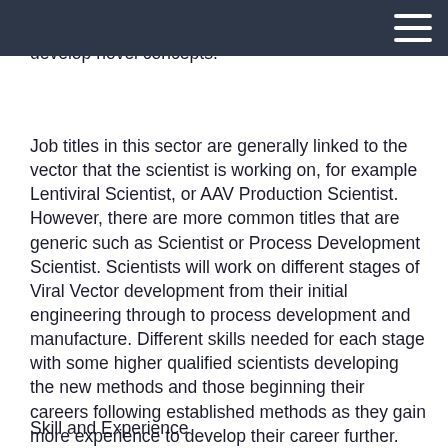their innovative and creative thinking to develop novel concepts.
Job titles in this sector are generally linked to the vector that the scientist is working on, for example Lentiviral Scientist, or AAV Production Scientist. However, there are more common titles that are generic such as Scientist or Process Development Scientist. Scientists will work on different stages of Viral Vector development from their initial engineering through to process development and manufacture. Different skills needed for each stage with some higher qualified scientists developing the new methods and those beginning their careers following established methods as they gain more experience to develop their career further.
Skill and Experience